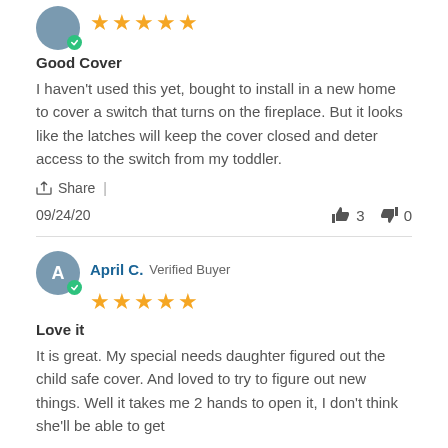[Figure (illustration): Partial avatar circle with verified badge and 5 orange stars for first reviewer]
Good Cover
I haven't used this yet, bought to install in a new home to cover a switch that turns on the fireplace. But it looks like the latches will keep the cover closed and deter access to the switch from my toddler.
Share |
09/24/20   👍 3   👎 0
[Figure (illustration): Avatar circle with letter A and verified badge, reviewer name April C. Verified Buyer, and 5 orange stars]
Love it
It is great. My special needs daughter figured out the child safe cover. And loved to try to figure out new things. Well it takes me 2 hands to open it, I don't think she'll be able to get